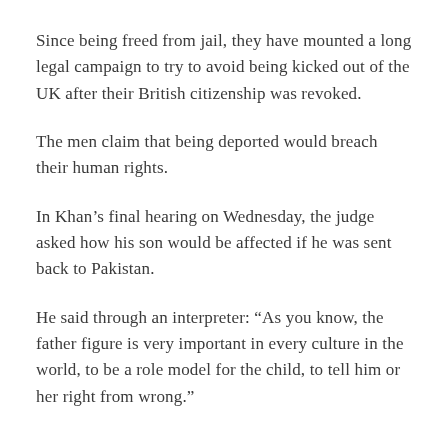Since being freed from jail, they have mounted a long legal campaign to try to avoid being kicked out of the UK after their British citizenship was revoked.
The men claim that being deported would breach their human rights.
In Khan's final hearing on Wednesday, the judge asked how his son would be affected if he was sent back to Pakistan.
He said through an interpreter: “As you know, the father figure is very important in every culture in the world, to be a role model for the child, to tell him or her right from wrong.”